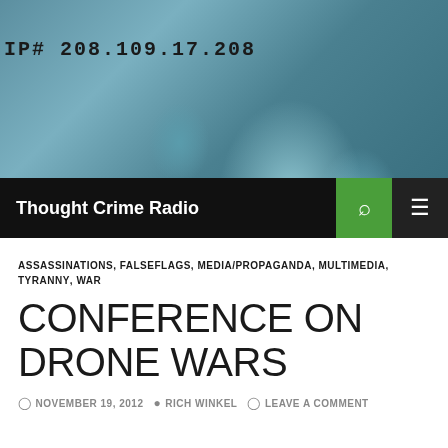[Figure (photo): Header image showing the Statue of Liberty face and crown in teal/green tones with text 'IP# 208.109.17.208' overlaid]
Thought Crime Radio
ASSASSINATIONS, FALSEFLAGS, MEDIA/PROPAGANDA, MULTIMEDIA, TYRANNY, WAR
CONFERENCE ON DRONE WARS
NOVEMBER 19, 2012   RICH WINKEL   LEAVE A COMMENT